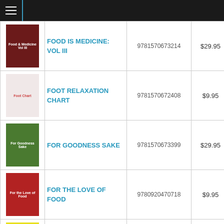Navigation menu header bar
| Image | Title | ISBN | Price | Action |
| --- | --- | --- | --- | --- |
| [book cover] | FOOD IS MEDICINE: VOL III | 9781570673214 | $29.95 | Add to c |
| [book cover] | FOOT RELAXATION CHART | 9781570672408 | $9.95 | Add to c |
| [book cover] | FOR GOODNESS SAKE | 9781570673399 | $29.95 | Add to c |
| [book cover] | FOR THE LOVE OF FOOD | 9780920470718 | $9.95 | Add to c |
| [book cover] | FRESH VEGETABLE AND FRUIT JUICES | 9780890190333 | $11.95 | Add to c |